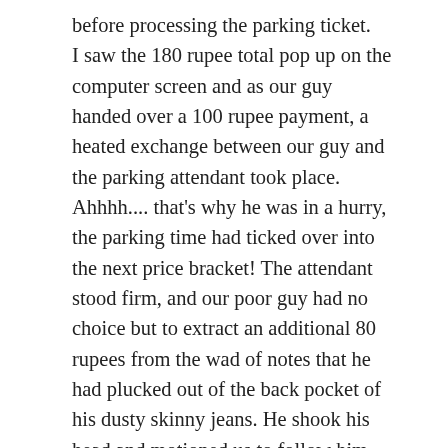before processing the parking ticket. I saw the 180 rupee total pop up on the computer screen and as our guy handed over a 100 rupee payment, a heated exchange between our guy and the parking attendant took place. Ahhhh.... that's why he was in a hurry, the parking time had ticked over into the next price bracket! The attendant stood firm, and our poor guy had no choice but to extract an additional 80 rupees from the wad of notes that he had plucked out of the back pocket of his dusty skinny jeans. He shook his head and motioned us to follow him. He took off again, ducking and weaving through the car park in search of the car. I probably should have then picked up on the notion that this guy liked to move fast, but that's not what your thinking as you are scrambling to keep up with your guy whilst squeezing between cars in the middle of a car park full of frantic taxi drivers all